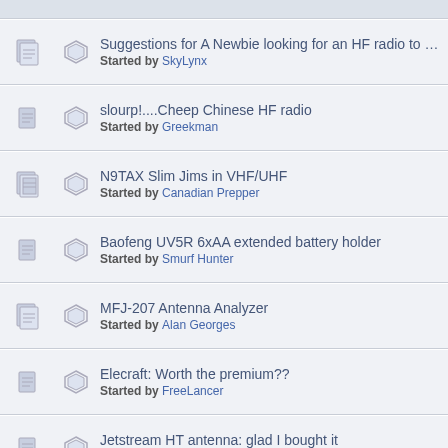Suggestions for A Newbie looking for an HF radio to learn on... Started by SkyLynx
slourp!....Cheep Chinese HF radio Started by Greekman
N9TAX Slim Jims in VHF/UHF Started by Canadian Prepper
Baofeng UV5R 6xAA extended battery holder Started by Smurf Hunter
MFJ-207 Antenna Analyzer Started by Alan Georges
Elecraft: Worth the premium?? Started by FreeLancer
Jetstream HT antenna: glad I bought it Started by buffalojustice
Hypario® X Nagoya 771 DUAL BAND 144/430Mhz SMA-F UV Ham Radio Antenna Started by Smurf Hunter
Ten-Tec Argonaut V reveiw